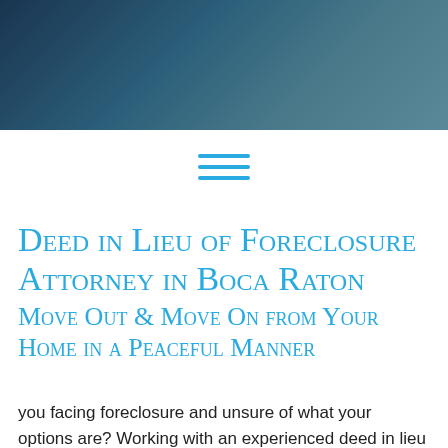[Figure (other): Dark gradient header banner spanning the top of the page]
[Figure (other): Hamburger menu icon made of three horizontal teal lines]
Deed in Lieu of Foreclosure Attorney in Boca Raton
Move Out & Move On from Your Home in a Peaceful Manner
you facing foreclosure and unsure of what your options are? Working with an experienced deed in lieu